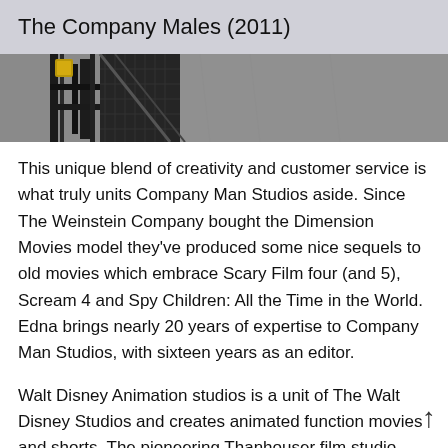The Company Males (2011)
[Figure (photo): Partial photo showing machinery or scaffolding with dark metal structures and grey pavement below]
This unique blend of creativity and customer service is what truly units Company Man Studios aside. Since The Weinstein Company bought the Dimension Movies model they've produced some nice sequels to old movies which embrace Scary Film four (and 5), Scream 4 and Spy Children: All the Time in the World. Edna brings nearly 20 years of expertise to Company Man Studios, with sixteen years as an editor.
Walt Disney Animation studios is a unit of The Walt Disney Studios and creates animated function movies and shorts. The pioneering Thanhouser film studio was founded in New Rochelle, New York in 1909 by American